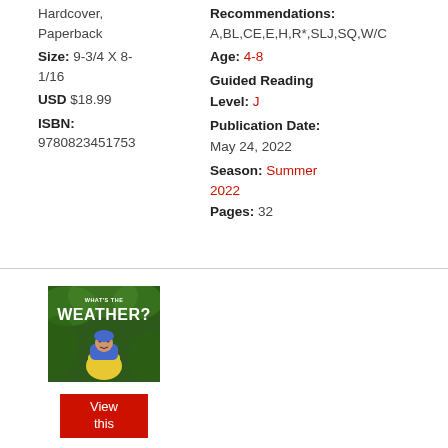Hardcover, Paperback
Size: 9-3/4 X 8-1/16
USD $18.99
ISBN: 9780823451753
Recommendations: A,BL,CE,E,H,R*,SLJ,SQ,W/C
Age: 4-8
Guided Reading Level: J
Publication Date: May 24, 2022
Season: Summer 2022
Pages: 32
[Figure (photo): Book cover for 'What's the Weather?' showing a child in a yellow and blue raincoat against a green background]
View this